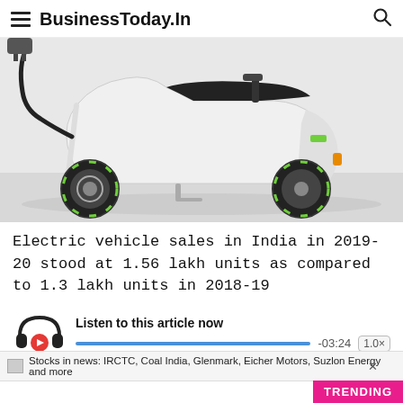BusinessToday.In
[Figure (photo): White electric scooter plugged in for charging, shown in side profile against a light grey background. Green accent details on wheels and body.]
Electric vehicle sales in India in 2019-20 stood at 1.56 lakh units as compared to 1.3 lakh units in 2018-19
Listen to this article now
-03:24  1.0x
Stocks in news: IRCTC, Coal India, Glenmark, Eicher Motors, Suzlon Energy and more